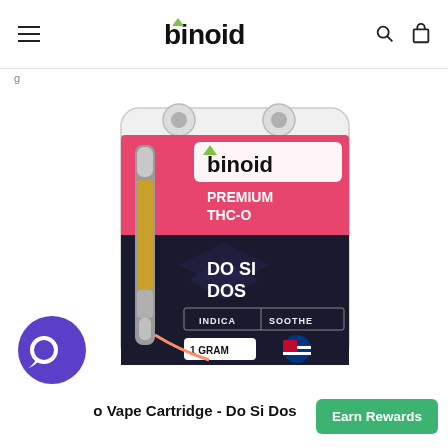binoid
g
[Figure (photo): Product packaging for Binoid Premium THC-O vape cartridge, Do Si Dos strain, Indica / Soothe, 1 Gram, with US flag badge. Shows a vape cartridge inside pink and dark blister packaging.]
o Vape Cartridge - Do Si Dos